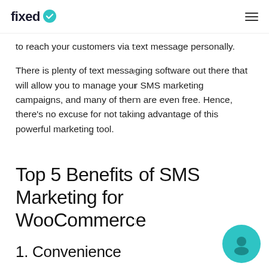fixed [logo]
to reach your customers via text message personally.
There is plenty of text messaging software out there that will allow you to manage your SMS marketing campaigns, and many of them are even free. Hence, there's no excuse for not taking advantage of this powerful marketing tool.
Top 5 Benefits of SMS Marketing for WooCommerce
1. Convenience